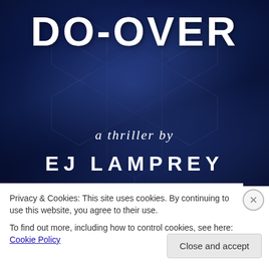[Figure (illustration): Book cover for 'DO-OVER a thriller by EJ LAMPREY'. Dark blue background with a shadowy human face, hexagonal geometric pattern overlay, bold white distressed title 'DO-OVER' at top, italic 'a thriller by' beneath, and large white 'EJ LAMPREY' at bottom.]
Privacy & Cookies: This site uses cookies. By continuing to use this website, you agree to their use.
To find out more, including how to control cookies, see here: Cookie Policy